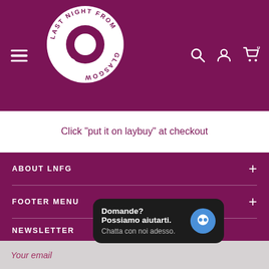[Figure (logo): Last Night From Glasgow circular logo with white circle and text on dark purple/maroon background header]
Click "put it on laybuy" at checkout
ABOUT LNFG
FOOTER MENU
NEWSLETTER
Your email
Domande? Possiamo aiutarti. Chatta con noi adesso.